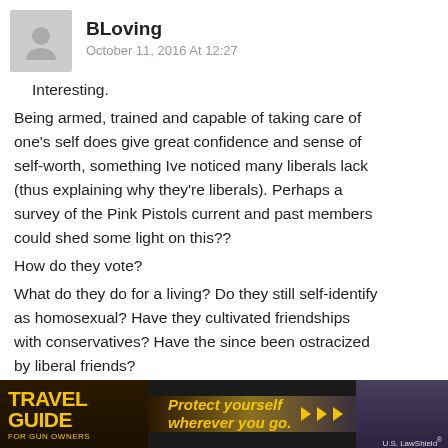BLoving — October 11, 2016 At 12:27
Interesting.

Being armed, trained and capable of taking care of one's self does give great confidence and sense of self-worth, something Ive noticed many liberals lack (thus explaining why they're liberals). Perhaps a survey of the Pink Pistols current and past members could shed some light on this??

How do they vote?

What do they do for a living? Do they still self-identify as homosexual? Have they cultivated friendships with conservatives? Have the since been ostracized by liberal friends?

Lots of questions.
[Figure (infographic): Advertisement banner: Travel Guide For Gun Owners — Protect yourself wherever you go. U.S. LawShield]